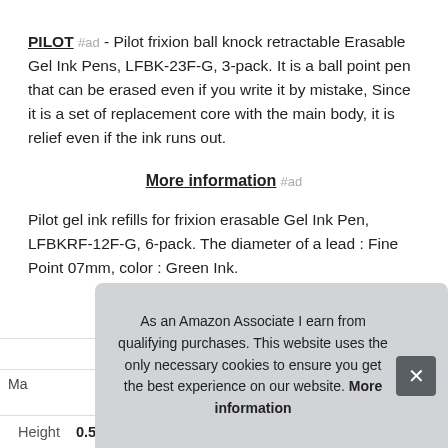PILOT #ad - Pilot frixion ball knock retractable Erasable Gel Ink Pens, LFBK-23F-G, 3-pack. It is a ball point pen that can be erased even if you write it by mistake, Since it is a set of replacement core with the main body, it is relief even if the ink runs out.
More information #ad
Pilot gel ink refills for frixion erasable Gel Ink Pen, LFBKRF-12F-G, 6-pack. The diameter of a lead : Fine Point 07mm, color : Green Ink.
| Ma |  |
| Height | 0.55 Inches |
As an Amazon Associate I earn from qualifying purchases. This website uses the only necessary cookies to ensure you get the best experience on our website. More information